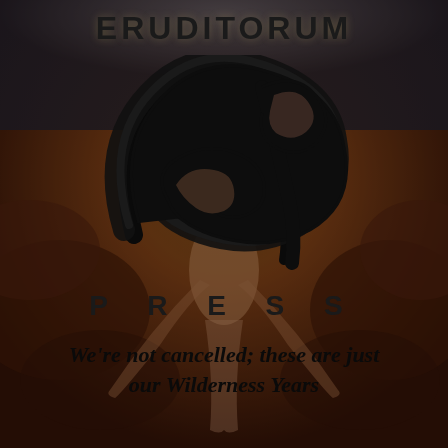ERUDITORUM
[Figure (logo): Eruditorum Press stylized 'EP' calligraphic logo in black, overlaid on a William Blake-style painting of a muscular figure with arms spread, painted in dark reds, browns, and yellows]
PRESS
We're not cancelled; these are just our Wilderness Years